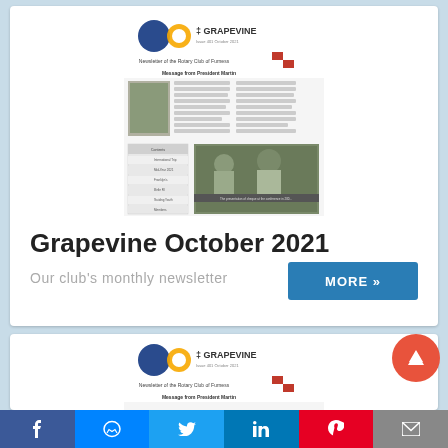[Figure (screenshot): Thumbnail of Grapevine October 2021 newsletter front page showing Rotary club logo, president photo, and article text]
Grapevine October 2021
Our club's monthly newsletter
MORE >>
[Figure (screenshot): Partial thumbnail of another Grapevine newsletter issue showing Rotary club logo header]
f  messenger  twitter  in  pinterest  email